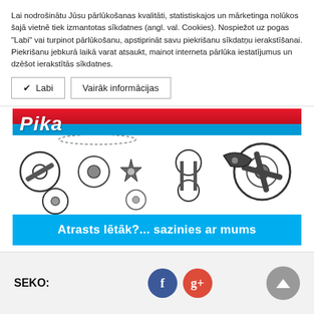Lai nodrošinātu Jūsu pārlūkošanas kvalitāti, statistiskajos un mārketinga nolūkos šajā vietnē tiek izmantotas sīkdatnes (angl. val. Cookies). Nospiežot uz pogas "Labi" vai turpinot pārlūkošanu, apstiprināt savu piekrišanu sīkdatņu ierakstīšanai. Piekrišanu jebkurā laikā varat atsaukt, mainot interneta pārlūka iestatījumus un dzēšot ierakstītās sīkdatnes.
✔  Labi
Vairāk informācijas
[Figure (photo): Bicycle parts/components advertisement banner with red diagonal stripe at top, various bike parts (chains, gears, cranks, derailleurs) on white background, and blue bottom bar with text 'Atrasts lētāk?... sazinies ar mums']
SEKO:
[Figure (logo): Facebook social icon - blue circle with white f]
[Figure (logo): Google+ social icon - coral/red circle with white g+]
[Figure (other): Back to top button - grey circle with white upward arrow]